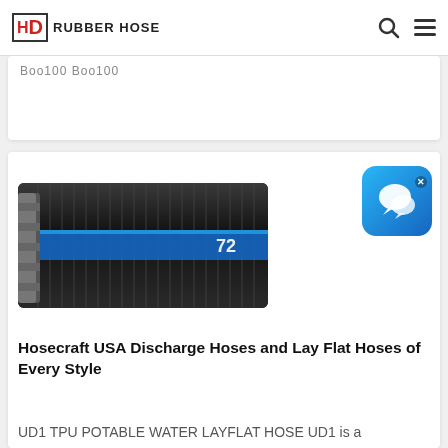HD RUBBER HOSE
Boo100 Boo100
[Figure (photo): A black corrugated rubber discharge hose with a blue stripe labeled '72', photographed diagonally showing ribbed exterior texture and metal end fitting.]
[Figure (illustration): Blue gradient chat bubble app icon with white speech bubble icons, with an X close button in upper right corner.]
Hosecraft USA Discharge Hoses and Lay Flat Hoses of Every Style
UD1 TPU POTABLE WATER LAYFLAT HOSE UD1 is a Polyurethane premium quality lay-flat discharge hose designed for potable water or food service. This light, high